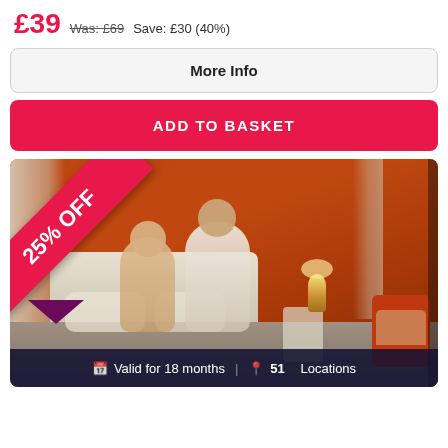£39  Was: £69  Save: £30 (40%)
More Info
ADD TO BASKET
[Figure (photo): Hotel room photo with couple in bed, orange walls, white curtains, lamp on bedside table, orange armchair. 25% OFF ribbon banner overlaid on top-left corner.]
Valid for 18 months  |  51 Locations